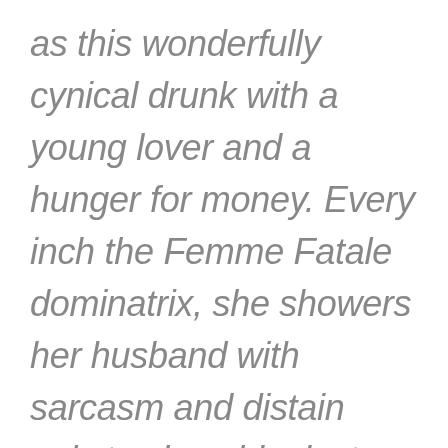as this wonderfully cynical drunk with a young lover and a hunger for money. Every inch the Femme Fatale dominatrix, she showers her husband with sarcasm and distain only to show him just enough attention to secure his